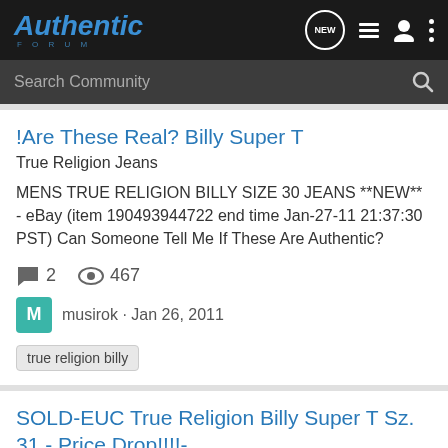Authentic FORUM
Search Community
!Are These Real? Billy Super T
True Religion Jeans
MENS TRUE RELIGION BILLY SIZE 30 JEANS **NEW** - eBay (item 190493944722 end time Jan-27-11 21:37:30 PST) Can Someone Tell Me If These Are Authentic?
2   467
musirok · Jan 26, 2011
true religion billy
SOLD-EUC True Religion Billy Super T Sz. 31 - Price Drop!!!!-
Sizes 31-33